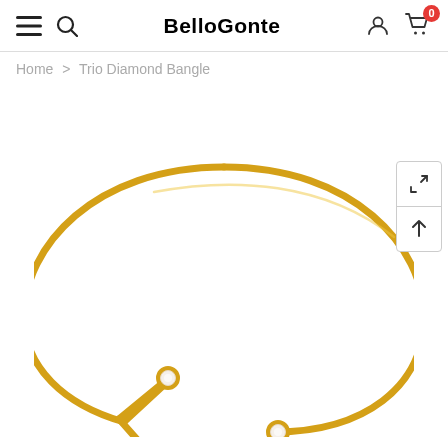BelloGonte
Home > Trio Diamond Bangle
[Figure (photo): Gold open-cuff bangle bracelet (Trio Diamond Bangle) with a thin gold arc and a V-shaped split at one end, each tip capped with a small round pearl/diamond stone. The opposite end has a single stone cap. Product shown on white background.]